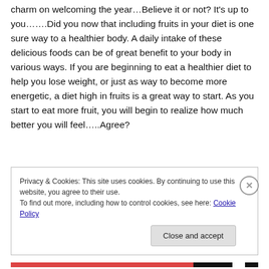charm on welcoming the year…Believe it or not? It's up to you…….Did you now that including fruits in your diet is one sure way to a healthier body. A daily intake of these delicious foods can be of great benefit to your body in various ways. If you are beginning to eat a healthier diet to help you lose weight, or just as way to become more energetic, a diet high in fruits is a great way to start. As you start to eat more fruit, you will begin to realize how much better you will feel…..Agree?
Privacy & Cookies: This site uses cookies. By continuing to use this website, you agree to their use. To find out more, including how to control cookies, see here: Cookie Policy